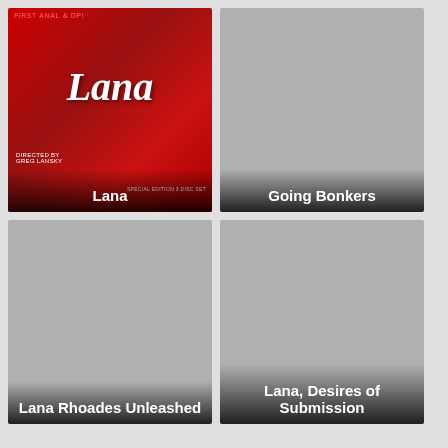[Figure (illustration): DVD cover for 'Lana' on red background with text 'FIRST ANAL & DP!', script lettering 'Lana', 'DIRECTED BY GREG LANSKY', 'SPECIAL EDITION 3 DISC SET']
Lana
[Figure (illustration): DVD cover for 'Going Bonkers' with gray/dark background]
Going Bonkers
[Figure (illustration): DVD cover for 'Lana Rhoades Unleashed' with dark/gray background]
Lana Rhoades Unleashed
[Figure (illustration): DVD cover for 'Lana, Desires of Submission' with dark/gray background]
Lana, Desires of Submission